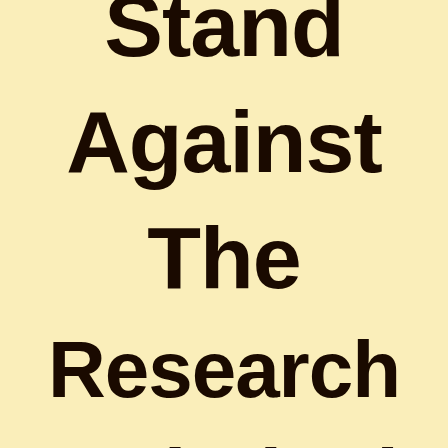Stand Against The Research Psychologist